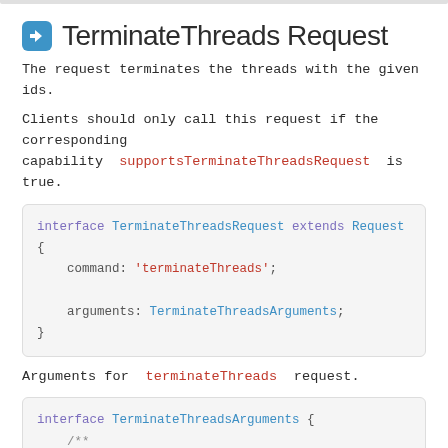TerminateThreads Request
The request terminates the threads with the given ids.
Clients should only call this request if the corresponding capability supportsTerminateThreadsRequest is true.
[Figure (screenshot): TypeScript interface definition: interface TerminateThreadsRequest extends Request { command: 'terminateThreads'; arguments: TerminateThreadsArguments; }]
Arguments for terminateThreads request.
[Figure (screenshot): TypeScript interface definition: interface TerminateThreadsArguments { /** * Ids of threads to be terminated. */ threadIds?: number[]; }]